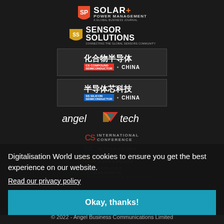[Figure (logo): Solar+ Power Management logo - orange/red shield icon with SP, text SOLAR+ POWER MANAGEMENT A GLOBAL BUSINESS JOURNAL]
[Figure (logo): Sensor Solutions logo - yellow/gold shield icon with SS, text SENSOR SOLUTIONS CONNECTING THE GLOBAL SENSORS COMMUNITY]
[Figure (logo): Compound Semiconductor China logo - Chinese characters 化合物半导体 with CS badge and CHINA text on dark background]
[Figure (logo): Silicon Semiconductor China logo - Chinese characters 半导体芯科技 with SS badge and CHINA text on dark background]
[Figure (logo): Angel Tech logo - text angeltech with colorful triangle icon]
[Figure (logo): Conference logos strip: CS INTERNATIONAL CONFERENCE, BIC INTERNATIONAL, SSI INTERNATIONAL CONFERENCE, TAAS TECHNOLOGY CONFERENCE TRANSPORTATION AS A SERVICE]
Digitalisation World uses cookies to ensure you get the best experience on our website.
Read our privacy policy
Okay, thanks!
© 2022 - Angel Business Communications Limited